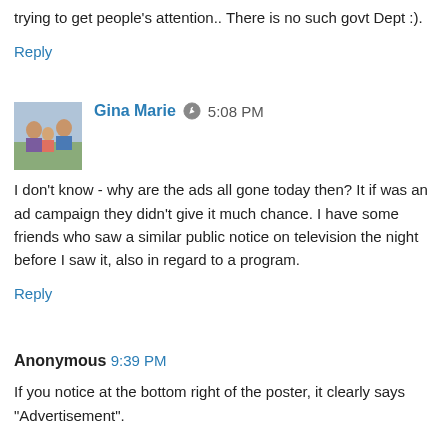trying to get people's attention.. There is no such govt Dept :).
Reply
Gina Marie  5:08 PM
I don't know - why are the ads all gone today then? It if was an ad campaign they didn't give it much chance. I have some friends who saw a similar public notice on television the night before I saw it, also in regard to a program.
Reply
Anonymous  9:39 PM
If you notice at the bottom right of the poster, it clearly says "Advertisement".
You might also enjoy this:
http://hk.youtube.com/watch?v=0CqfKqI7VGo
I would guess if the ads are gone it is because the premiere